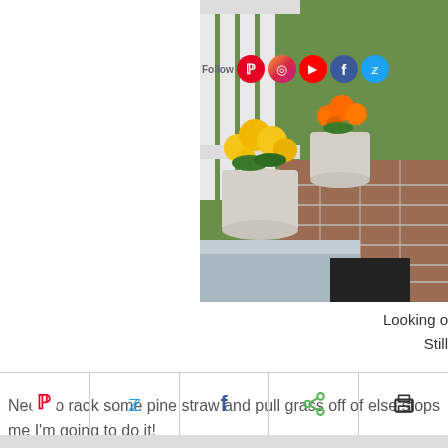[Figure (photo): Photo of a porch with white railing, potted yellow and orange marigolds in white buckets, and a brick walkway with a blue-grey wooden step.]
Looking o
Still
Need to rack some pine straw and pull grass off of else stops me I'm going to do it!
[Figure (other): Social share bar with Pinterest, Twitter, Facebook, share, and print icons]
[Figure (screenshot): Bottom thumbnail strip beginning to appear]